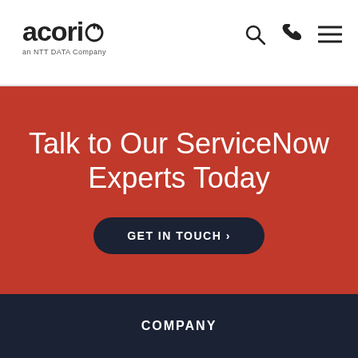acorio – an NTT DATA Company
Talk to Our ServiceNow Experts Today
GET IN TOUCH ›
COMPANY